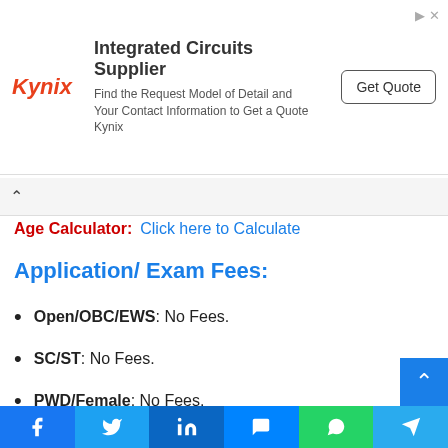[Figure (other): Kynix Integrated Circuits Supplier advertisement banner with logo, description text, and Get Quote button]
Age Calculator: Click here to Calculate
Application/ Exam Fees:
Open/OBC/EWS: No Fees.
SC/ST: No Fees.
PWD/Female: No Fees.